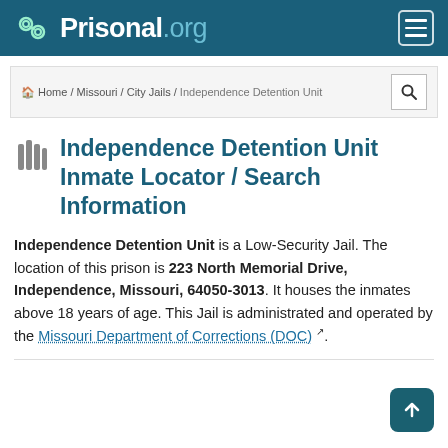Prisonal.org
Home / Missouri / City Jails / Independence Detention Unit
Independence Detention Unit Inmate Locator / Search Information
Independence Detention Unit is a Low-Security Jail. The location of this prison is 223 North Memorial Drive, Independence, Missouri, 64050-3013. It houses the inmates above 18 years of age. This Jail is administrated and operated by the Missouri Department of Corrections (DOC).